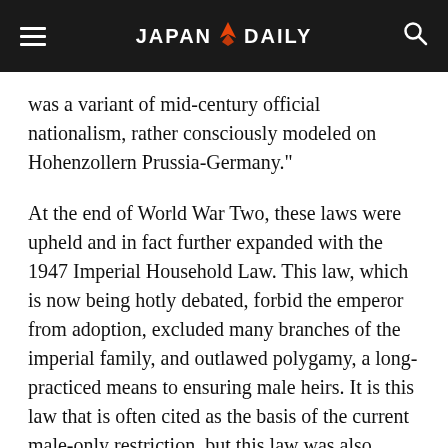JAPAN DAILY
was a variant of mid-century official nationalism, rather consciously modeled on Hohenzollern Prussia-Germany."
At the end of World War Two, these laws were upheld and in fact further expanded with the 1947 Imperial Household Law. This law, which is now being hotly debated, forbid the emperor from adoption, excluded many branches of the imperial family, and outlawed polygamy, a long-practiced means to ensuring male heirs. It is this law that is often cited as the basis of the current male-only restriction, but this law was also created by the American occupying forces –